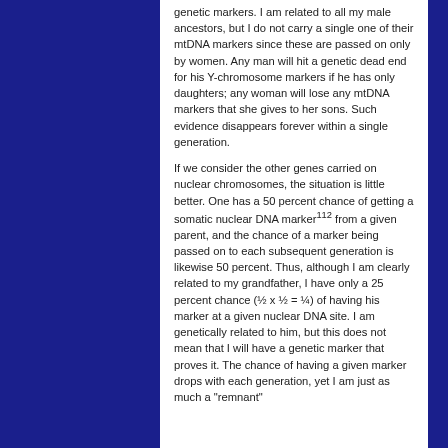genetic markers. I am related to all my male ancestors, but I do not carry a single one of their mtDNA markers since these are passed on only by women. Any man will hit a genetic dead end for his Y-chromosome markers if he has only daughters; any woman will lose any mtDNA markers that she gives to her sons. Such evidence disappears forever within a single generation.
If we consider the other genes carried on nuclear chromosomes, the situation is little better. One has a 50 percent chance of getting a somatic nuclear DNA marker112 from a given parent, and the chance of a marker being passed on to each subsequent generation is likewise 50 percent. Thus, although I am clearly related to my grandfather, I have only a 25 percent chance (½ x ½ = ¼) of having his marker at a given nuclear DNA site. I am genetically related to him, but this does not mean that I will have a genetic marker that proves it. The chance of having a given marker drops with each generation, yet I am just as much a "remnant"